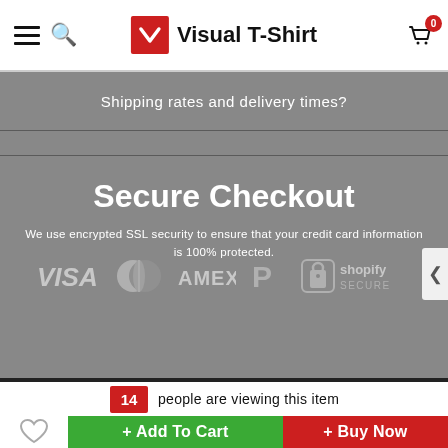Visual T-Shirt
Shipping rates and delivery times?
Secure Checkout
We use encrypted SSL security to ensure that your credit card information is 100% protected.
[Figure (logo): Payment method icons: VISA, Mastercard, AMEX, PayPal, Shopify Secure padlock]
14 people are viewing this item
+ Add To Cart
+ Buy Now